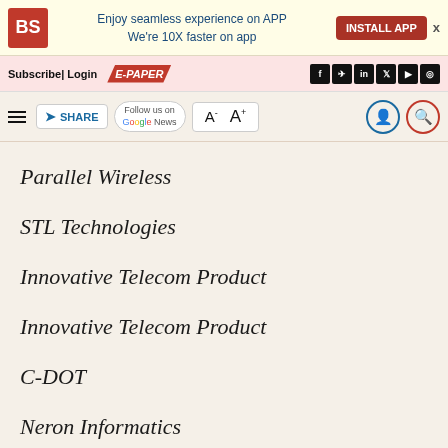BS | Enjoy seamless experience on APP We're 10X faster on app | INSTALL APP
Subscribe | Login | E-PAPER
[Figure (screenshot): Toolbar with menu hamburger, SHARE button, Follow us on Google News, font size controls A- A+, and user/search icons]
Parallel Wireless
STL Technologies
Innovative Telecom Product
Innovative Telecom Product
C-DOT
Neron Informatics